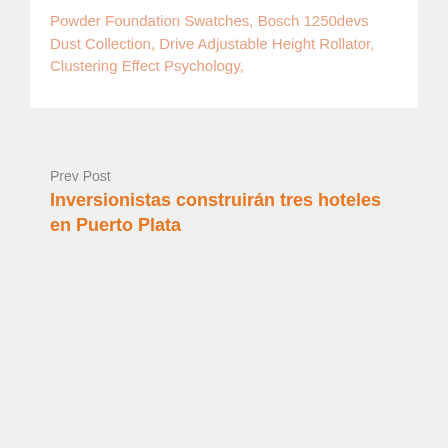Powder Foundation Swatches, Bosch 1250devs Dust Collection, Drive Adjustable Height Rollator, Clustering Effect Psychology,
Prev Post
Inversionistas construirán tres hoteles en Puerto Plata